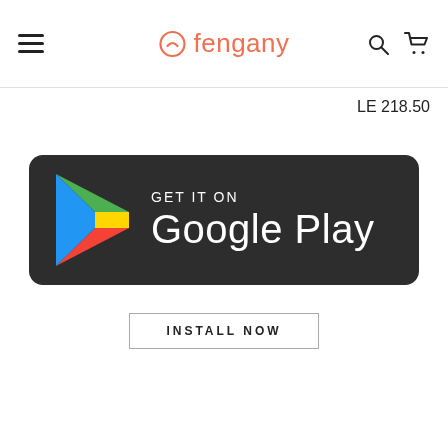fengany — navigation header with hamburger menu, logo, search and cart icons
LE 218.50
[Figure (logo): Google Play Store badge: dark rounded rectangle with multicolor Play triangle icon, text 'GET IT ON' above 'Google Play' in white]
INSTALL NOW